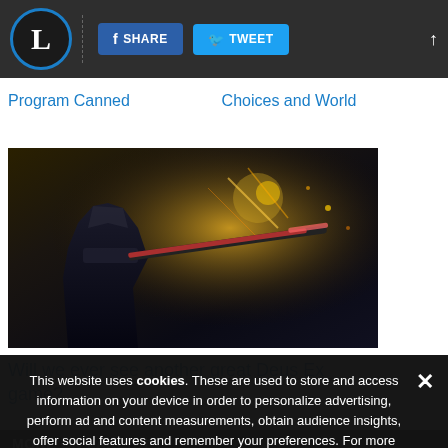L | SHARE | TWEET
Program Canned
Choices and World
[Figure (photo): Screenshot from a Deus Ex video game showing an armored character with a weapon and dramatic lighting]
Will we ever see another great Deus Ex game?
MORE ON LAKEBIT
This website uses cookies. These are used to store and access information on your device in order to personalize advertising, perform ad and content measurements, obtain audience insights, offer social features and remember your preferences. For more information, including managing of your consent, see our Privacy and Cookie Policy.
Top 7 New Characters in
ACCEPT